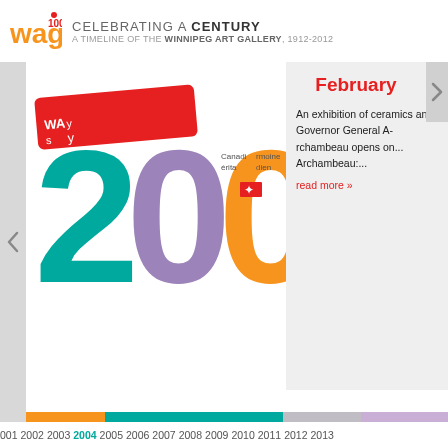wag 100 — CELEBRATING A CENTURY — A TIMELINE OF THE WINNIPEG ART GALLERY, 1912-2012
[Figure (infographic): Large colorful year '2004' with overlapping banners and logos including WAG branding, Canadian flag, and heritage patrimoine canadien text]
February
An exhibition of ceramics and Governor General Archambeau opens on... Archambeau:...
read more »
2001 2002 2003 2004 2005 2006 2007 2008 2009 2010 2011 2012 2013